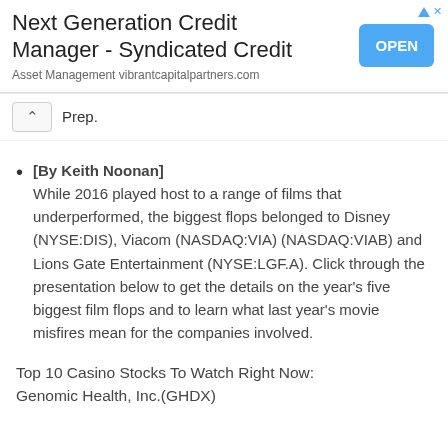[Figure (other): Advertisement banner for 'Next Generation Credit Manager - Syndicated Credit' from Asset Management vibrantcapitalpartners.com with an OPEN button]
Prep.
[By Keith Noonan] While 2016 played host to a range of films that underperformed, the biggest flops belonged to Disney (NYSE:DIS), Viacom (NASDAQ:VIA) (NASDAQ:VIAB) and Lions Gate Entertainment (NYSE:LGF.A). Click through the presentation below to get the details on the year's five biggest film flops and to learn what last year's movie misfires mean for the companies involved.
Top 10 Casino Stocks To Watch Right Now: Genomic Health, Inc.(GHDX)